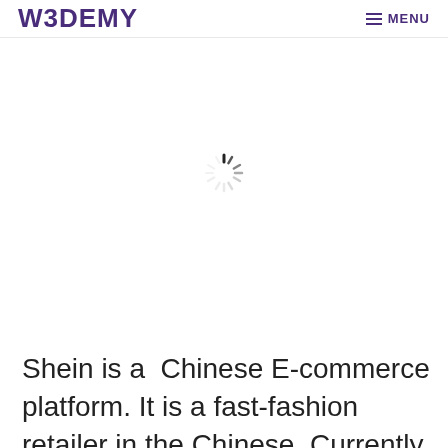W3DEMY  MENU
[Figure (other): A spinning loading indicator (spinner/throbber) centered in a white area below the navigation header.]
Shein is a  Chinese E-commerce platform. It is a fast-fashion retailer in the Chinese. Currently, the